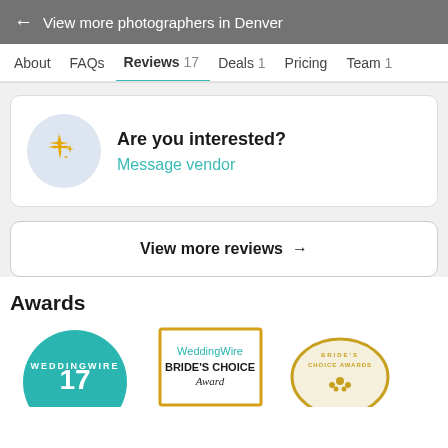← View more photographers in Denver
About  FAQs  Reviews 17  Deals 1  Pricing  Team 1
Are you interested?
Message vendor
View more reviews →
Awards
[Figure (logo): WeddingWire 17 reviews badge (teal circle)]
[Figure (logo): WeddingWire Bride's Choice Award badge (gold border)]
[Figure (logo): Bride's Choice Awards badge (gold/cream circle)]